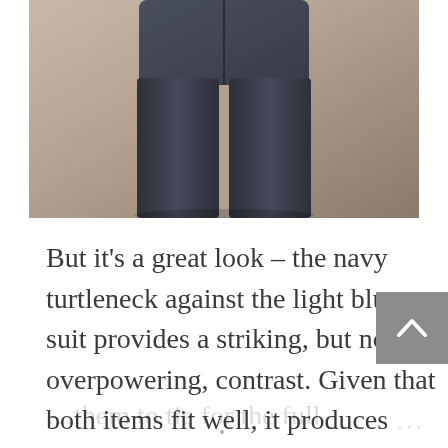[Figure (photo): Cropped photo showing lower torso of a person wearing dark navy/charcoal suit trousers and jacket bottom, from behind or front, against a warm beige-brown studio background]
But it's a great look – the navy turtleneck against the light blue suit provides a striking, but not overpowering, contrast. Given that both items fit well, it produces …